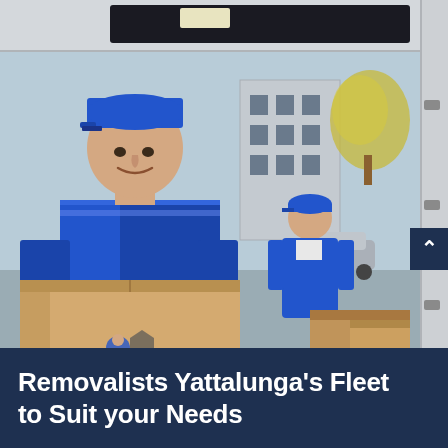[Figure (photo): Two removalists in blue uniforms and caps standing near the open back of a white moving van. The front mover is smiling and holding a large cardboard box with 'PRO REMOVALISTS' logo and orange text on it. A second mover stands behind him. Background shows a building and trees.]
Removalists Yattalunga's Fleet to Suit your Needs